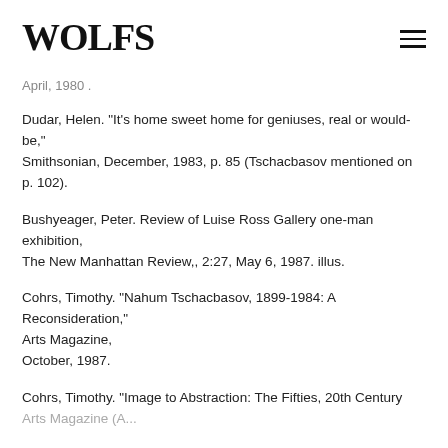WOLFS
April, 1980 .
Dudar, Helen. "It's home sweet home for geniuses, real or would-be,"
Smithsonian, December, 1983, p. 85 (Tschacbasov mentioned on p. 102).
Bushyeager, Peter. Review of Luise Ross Gallery one-man exhibition,
The New Manhattan Review,, 2:27, May 6, 1987. illus.
Cohrs, Timothy. "Nahum Tschacbasov, 1899-1984: A Reconsideration,"
Arts Magazine,
October, 1987.
Cohrs, Timothy. "Image to Abstraction: The Fifties, 20th Century
Arts Magazine (partial, cut off)